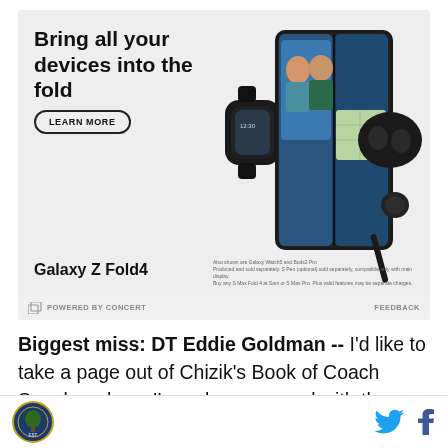[Figure (screenshot): Samsung Galaxy Z Fold4 advertisement showing devices: smartwatch, foldable phone with video call, earbuds, and stylus. Text: 'Bring all your devices into the fold' with a LEARN MORE button and Samsung Galaxy Z Fold4 product name plus fine print.]
POWERED BY CONCERT   FEEDBACK
Biggest miss: DT Eddie Goldman -- I'd like to take a page out of Chizik's Book of Coach Speak and say I'm only concerned with the ones we got. But, we all know better. Truth is, I really wanted Eddie Goldman. We all know that big, nasty defensive tackles is what sets the SEC apart. Adding him to the rotation would have...
[Figure (logo): Circular logo (site/team logo) in bottom left]
[Figure (logo): Twitter and Facebook social media icons in bottom right]